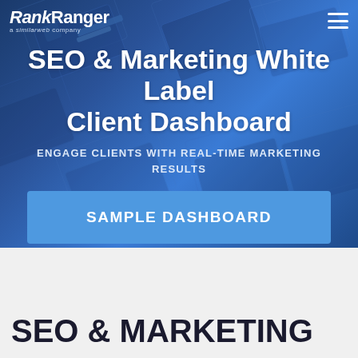[Figure (screenshot): RankRanger hero banner with dark blue 3D geometric background showing dashboard mockups]
RankRanger a similarweb company
SEO & Marketing White Label Client Dashboard
ENGAGE CLIENTS WITH REAL-TIME MARKETING RESULTS
SAMPLE DASHBOARD
SEO & MARKETING